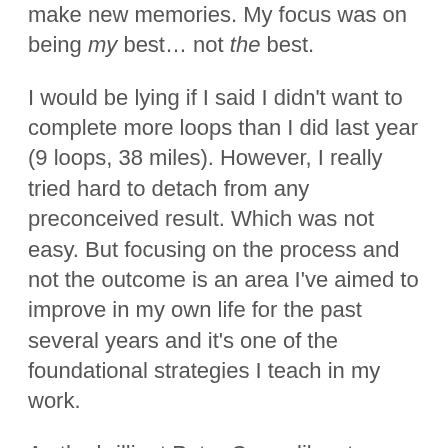make new memories. My focus was on being my best… not the best.
I would be lying if I said I didn't want to complete more loops than I did last year (9 loops, 38 miles). However, I really tried hard to detach from any preconceived result. Which was not easy. But focusing on the process and not the outcome is an area I've aimed to improve in my own life for the past several years and it's one of the foundational strategies I teach in my work.
As the brilliant Peter Crone likes to say, 'Be fully committed, completely detached.' In other words, be fully